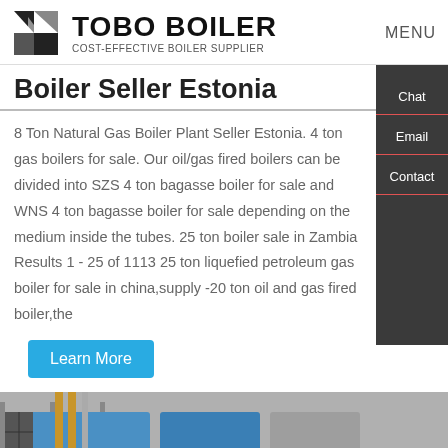TOBO BOILER - COST-EFFECTIVE BOILER SUPPLIER | MENU
Boiler Seller Estonia
8 Ton Natural Gas Boiler Plant Seller Estonia. 4 ton gas boilers for sale. Our oil/gas fired boilers can be divided into SZS 4 ton bagasse boiler for sale and WNS 4 ton bagasse boiler for sale depending on the medium inside the tubes. 25 ton boiler sale in Zambia Results 1 - 25 of 1113 25 ton liquefied petroleum gas boiler for sale in china,supply -20 ton oil and gas fired boiler,the
[Figure (screenshot): Industrial boiler equipment photo showing blue and grey metal boiler units in a facility]
Hey, we are live 24/7. How may I help you?